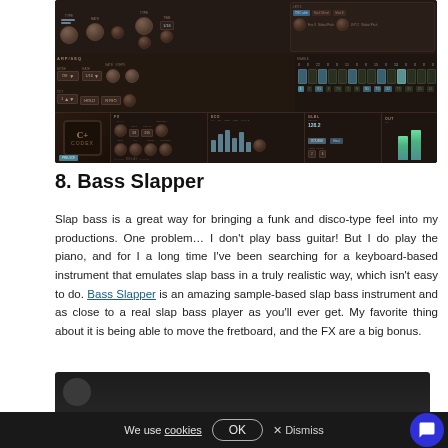[Figure (screenshot): Screenshot of a synthesizer plugin (Coda/CODEX) showing oscillators, arpeggiator, step sequencer, FX, EQ, and output meters with dark brown/teal color scheme]
8. Bass Slapper
Slap bass is a great way for bringing a funk and disco-type feel into my productions. One problem… I don't play bass guitar! But I do play the piano, and for I a long time I've been searching for a keyboard-based instrument that emulates slap bass in a truly realistic way, which isn't easy to do. Bass Slapper is an amazing sample-based slap bass instrument and as close to a real slap bass player as you'll ever get. My favorite thing about it is being able to move the fretboard, and the FX are a big bonus.
[Figure (screenshot): Bottom portion of another instrument or plugin screenshot, dark background, partially visible]
We use cookies OK X Dismiss